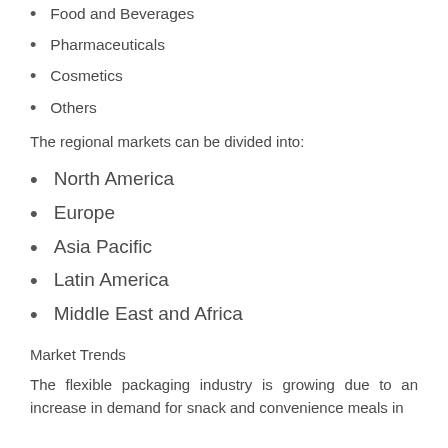Food and Beverages
Pharmaceuticals
Cosmetics
Others
The regional markets can be divided into:
North America
Europe
Asia Pacific
Latin America
Middle East and Africa
Market Trends
The flexible packaging industry is growing due to an increase in demand for snack and convenience meals in